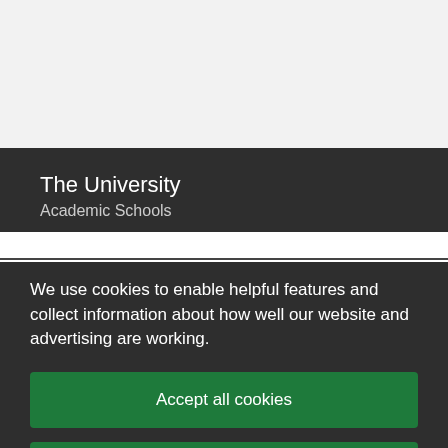The University
Academic Schools
We use cookies to enable helpful features and collect information about how well our website and advertising are working.
Accept all cookies
Manage your cookie preferences